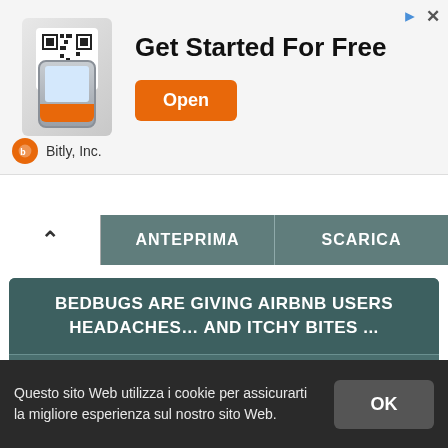[Figure (screenshot): Advertisement banner for Bitly, Inc. showing 'Get Started For Free' with an Open button and QR code phone graphic]
Bitly, Inc.
ANTEPRIMA
SCARICA
BEDBUGS ARE GIVING AIRBNB USERS HEADACHES… AND ITCHY BITES ...
https://www.cnet.com/features/bed-bugs-are-giving-airbnb-users-
Bedbugs are giving Airbnb users headaches… and itchy bites Waking up with bedbug bites can be a nightmare. It's also a costly and traumatic problem for Airbnb guests and hosts.
STATUS: ATTIVO
Questo sito Web utilizza i cookie per assicurarti la migliore esperienza sul nostro sito Web.